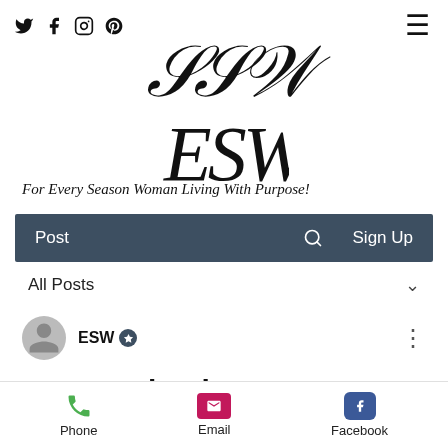[Figure (logo): ESW website header with social icons (Twitter, Facebook, Instagram, Pinterest), hamburger menu, ESW script logo, and tagline]
For Every Season Woman Living With Purpose!
[Figure (screenshot): Navigation bar with Post, search icon, Sign Up on dark slate background]
All Posts
ESW (with admin badge)
Top Destinations to
[Figure (screenshot): Mobile bottom bar with Phone, Email, Facebook action buttons]